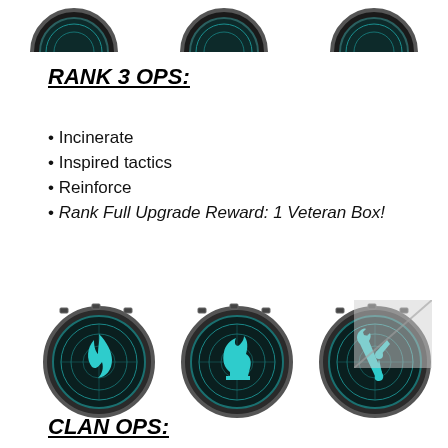[Figure (illustration): Three partially visible circular tactical badge icons at the top of the page (cropped, showing bottom halves)]
RANK 3 OPS:
Incinerate
Inspired tactics
Reinforce
Rank Full Upgrade Reward: 1 Veteran Box!
[Figure (illustration): Three circular tactical badge icons: flame/fire icon (teal on dark), chess knight piece icon (teal on dark), tools/wrench-and-hammer icon (teal on dark). Metallic dark border with teal radar-circle design.]
CLAN OPS: